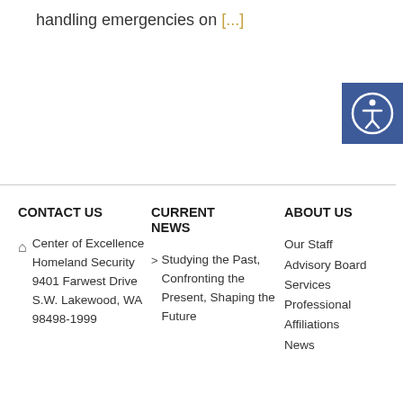handling emergencies on [...]
[Figure (illustration): Blue accessibility icon button with person symbol]
CONTACT US
CURRENT NEWS
ABOUT US
Center of Excellence Homeland Security 9401 Farwest Drive S.W. Lakewood, WA 98498-1999
Studying the Past, Confronting the Present, Shaping the Future
Our Staff
Advisory Board
Services
Professional Affiliations
News